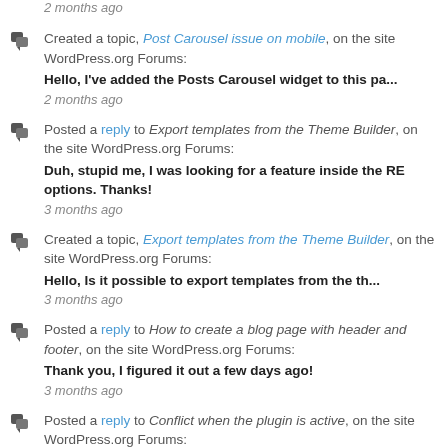2 months ago
Created a topic, Post Carousel issue on mobile, on the site WordPress.org Forums: Hello, I've added the Posts Carousel widget to this pa... 2 months ago
Posted a reply to Export templates from the Theme Builder, on the site WordPress.org Forums: Duh, stupid me, I was looking for a feature inside the RE options. Thanks! 3 months ago
Created a topic, Export templates from the Theme Builder, on the site WordPress.org Forums: Hello, Is it possible to export templates from the th... 3 months ago
Posted a reply to How to create a blog page with header and footer, on the site WordPress.org Forums: Thank you, I figured it out a few days ago! 3 months ago
Posted a reply to Conflict when the plugin is active, on the site WordPress.org Forums: